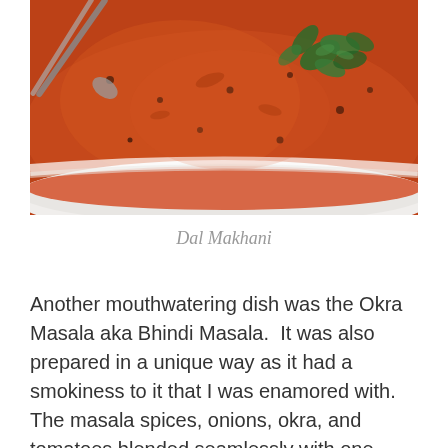[Figure (photo): Close-up photo of Dal Makhani in a white bowl — a rich orange-red curry dish garnished with fresh green cilantro leaves, with metal cutlery visible on the left side.]
Dal Makhani
Another mouthwatering dish was the Okra Masala aka Bhindi Masala.  It was also prepared in a unique way as it had a smokiness to it that I was enamored with.  The masala spices, onions, okra, and tomatoes blended seamlessly with one another and this dish serves as a really nice complement to the heavier, creamy tomato sauces.  I've never had smokey okra